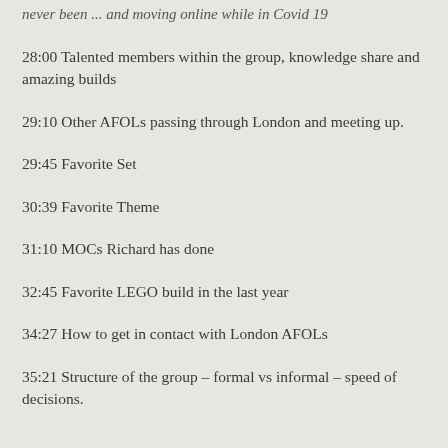never been ... and moving online while in Covid 19
28:00 Talented members within the group, knowledge share and amazing builds
29:10 Other AFOLs passing through London and meeting up.
29:45 Favorite Set
30:39 Favorite Theme
31:10 MOCs Richard has done
32:45 Favorite LEGO build in the last year
34:27 How to get in contact with London AFOLs
35:21 Structure of the group – formal vs informal – speed of decisions.